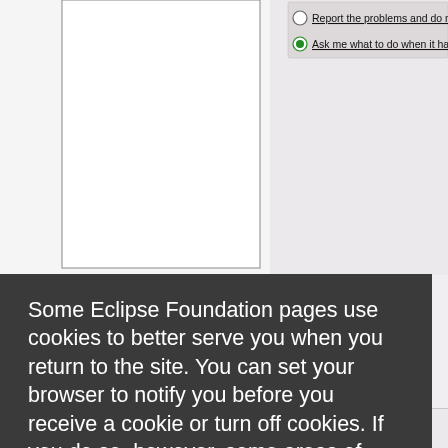[Figure (screenshot): Eclipse IDE screenshot background showing a preferences/settings dialog with radio buttons: 'Report the problems and do not op...' and 'Ask me what to do when it happens' (selected). Left panel shows a white bordered selection area.]
Some Eclipse Foundation pages use cookies to better serve you when you return to the site. You can set your browser to notify you before you receive a cookie or turn off cookies. If you do so, however, some areas of some sites may not function properly. To read Eclipse Foundation Privacy Policy click here.
Decline
Allow cookies
If you want to include p2 update functionality in the UI,